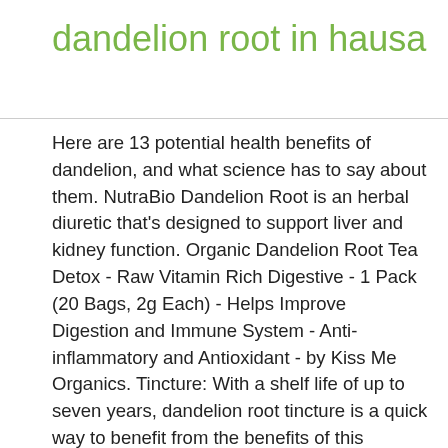dandelion root in hausa
Here are 13 potential health benefits of dandelion, and what science has to say about them. NutraBio Dandelion Root is an herbal diuretic that's designed to support liver and kidney function. Organic Dandelion Root Tea Detox - Raw Vitamin Rich Digestive - 1 Pack (20 Bags, 2g Each) - Helps Improve Digestion and Immune System - Anti-inflammatory and Antioxidant - by Kiss Me Organics. Tincture: With a shelf life of up to seven years, dandelion root tincture is a quick way to benefit from the benefits of this detoxifying herb on a daily basis. Consuming dandelion roots leads to diuretic effects. If you frequently experience stomach upset, try drinking a cup of dandelion tea each day and see if it helps. ½ teaspoons should be taken per day, either directly under the tongue or added to water. With dandelion roots you can avoid pills and let your food be your medicine.